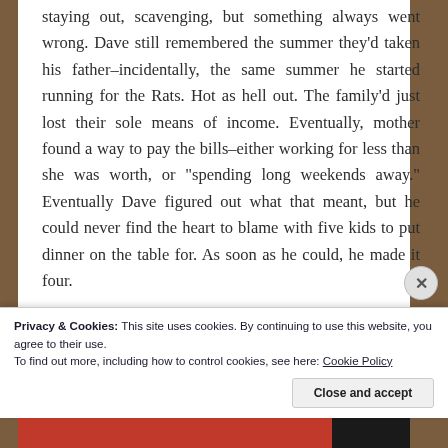staying out, scavenging, but something always went wrong. Dave still remembered the summer they'd taken his father–incidentally, the same summer he started running for the Rats. Hot as hell out. The family'd just lost their sole means of income. Eventually, mother found a way to pay the bills–either working for less than she was worth, or "spending long weekends away." Eventually Dave figured out what that meant, but he could never find the heart to blame with five kids to put dinner on the table for. As soon as he could, he made it four.
The Rats became a surrogate family. An even that some
Privacy & Cookies: This site uses cookies. By continuing to use this website, you agree to their use.
To find out more, including how to control cookies, see here: Cookie Policy